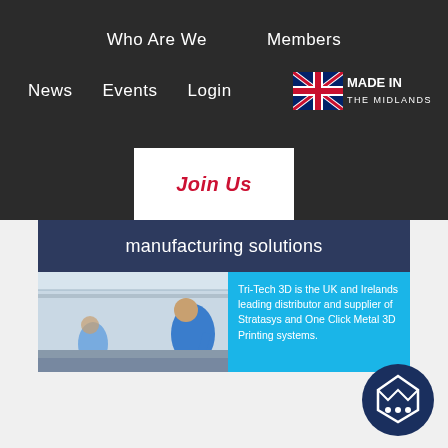Who Are We | Members
News | Events | Login
Join Us
manufacturing solutions
Tri-Tech 3D is the UK and Irelands leading distributor and supplier of Stratasys and One Click Metal 3D Printing systems.
[Figure (screenshot): Chat widget circle with Made in the Midlands logo and ellipsis dots]